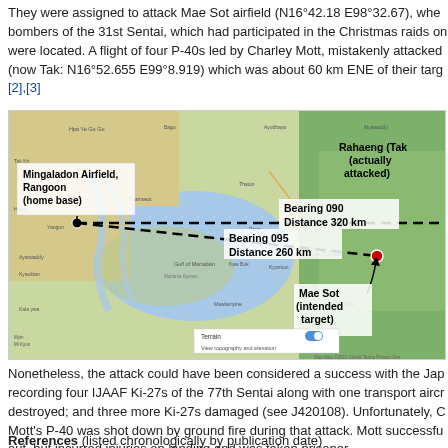They were assigned to attack Mae Sot airfield (N16°42.18 E98°32.67), where bombers of the 31st Sentai, which had participated in the Christmas raids on were located. A flight of four P-40s led by Charley Mott, mistakenly attacked (now Tak: N16°52.655 E99°8.919) which was about 60 km ENE of their targ [2],[3]
[Figure (map): Map showing flight paths from Mingaladon Airfield, Rangoon (home base) to Mae Sot (intended target) and Rahaeng/Tak (actually attacked). Two dashed lines indicate Bearing 090 Distance 320 km and Bearing 095 Distance 260 km from Rangoon. Red dot marks Mae Sot. Map shows terrain of Myanmar/Thailand border region including Gulf of Martaban.]
Nonetheless, the attack could have been considered a success with the Jap recording four IJAAF Ki-27s of the 77th Sentai along with one transport aircr destroyed; and three more Ki-27s damaged (see J420108). Unfortunately, C Mott's P-40 was shot down by ground fire during that attack. Mott successfu out, but incurred injuries on landing and was taken prisoner.
References (listed chronologically by publication date)